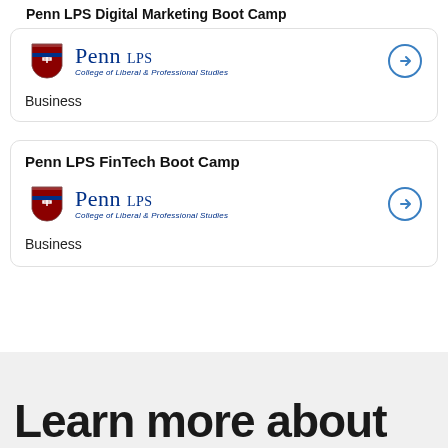Penn LPS Digital Marketing Boot Camp
[Figure (logo): Penn LPS College of Liberal & Professional Studies logo]
Business
Penn LPS FinTech Boot Camp
[Figure (logo): Penn LPS College of Liberal & Professional Studies logo]
Business
Learn more about